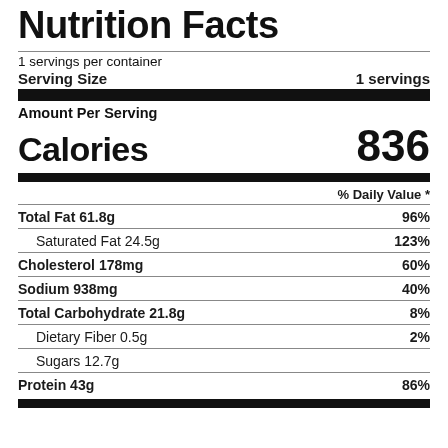Nutrition Facts
1 servings per container
Serving Size   1 servings
Amount Per Serving
Calories   836
| Nutrient | % Daily Value |
| --- | --- |
| Total Fat 61.8g | 96% |
| Saturated Fat 24.5g | 123% |
| Cholesterol 178mg | 60% |
| Sodium 938mg | 40% |
| Total Carbohydrate 21.8g | 8% |
| Dietary Fiber 0.5g | 2% |
| Sugars 12.7g |  |
| Protein 43g | 86% |